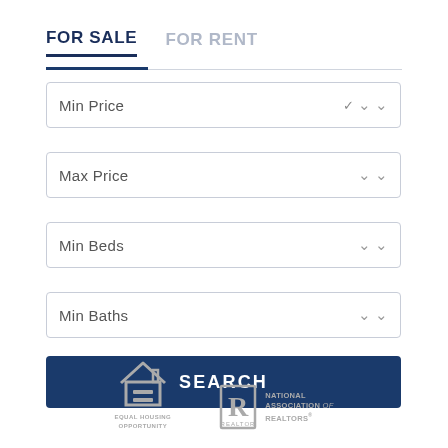FOR SALE
FOR RENT
Min Price
Max Price
Min Beds
Min Baths
SEARCH
[Figure (logo): Equal Housing Opportunity logo with house icon and equals sign, gray color. Text: EQUAL HOUSING OPPORTUNITY]
[Figure (logo): National Association of Realtors logo with R symbol and text: NATIONAL ASSOCIATION of REALTORS, gray color]